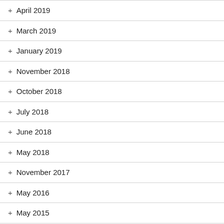+ April 2019
+ March 2019
+ January 2019
+ November 2018
+ October 2018
+ July 2018
+ June 2018
+ May 2018
+ November 2017
+ May 2016
+ May 2015